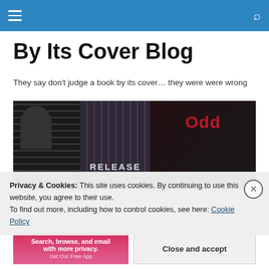Navigation bar with hamburger menu and search icon
By Its Cover Blog
They say don't judge a book by its cover… they were were wrong
[Figure (photo): Three book covers laid on a surface: Moxie (black with pink lettering), Release by Patrick Ness (dark with streaks), and Odd (dark cover)]
Privacy & Cookies: This site uses cookies. By continuing to use this website, you agree to their use.
To find out more, including how to control cookies, see here: Cookie Policy
Close and accept
Advertisements
Search, browse, and email with more privacy.
Get Our Free App